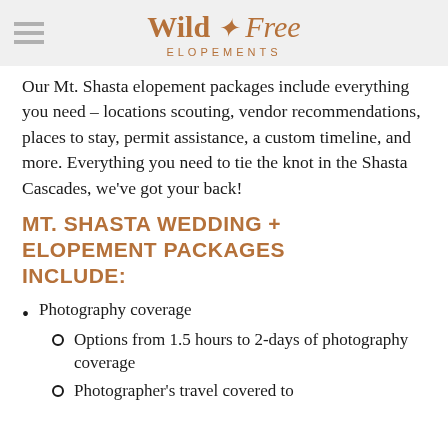Wild + Free Elopements
Our Mt. Shasta elopement packages include everything you need – locations scouting, vendor recommendations, places to stay, permit assistance, a custom timeline, and more. Everything you need to tie the knot in the Shasta Cascades, we've got your back!
MT. SHASTA WEDDING + ELOPEMENT PACKAGES INCLUDE:
Photography coverage
Options from 1.5 hours to 2-days of photography coverage
Photographer's travel covered to...